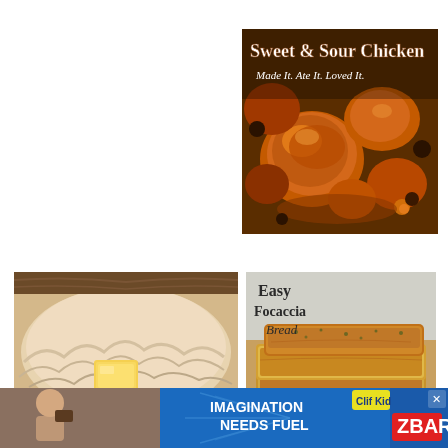[Figure (photo): Sweet & Sour Chicken dish with text overlay 'Sweet & Sour Chicken, Made It. Ate It. Loved It.' showing glazed chicken pieces with a sticky brown sauce]
[Figure (photo): Close-up of creamy mashed potatoes with a pat of melting butter on top]
[Figure (photo): Easy Focaccia Bread with text overlay showing sliced pieces of golden focaccia bread stacked]
[Figure (photo): Advertisement banner showing a child eating a Clif Kid ZBar with text 'IMAGINATION NEEDS FUEL']